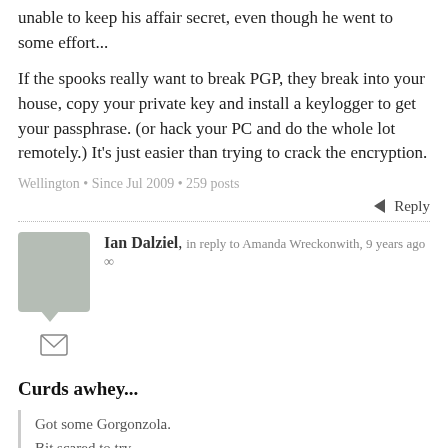unable to keep his affair secret, even though he went to some effort...
If the spooks really want to break PGP, they break into your house, copy your private key and install a keylogger to get your passphrase. (or hack your PC and do the whole lot remotely.) It's just easier than trying to crack the encryption.
Wellington • Since Jul 2009 • 259 posts
Reply
Ian Dalziel, in reply to Amanda Wreckonwith, 9 years ago ∞
Curds awhey...
Got some Gorgonzola.
Bit scared to try...
...point taken, I can see the shattered Redcoated carapace giving way to those Blue Green veins!
(such a redolently political palette)